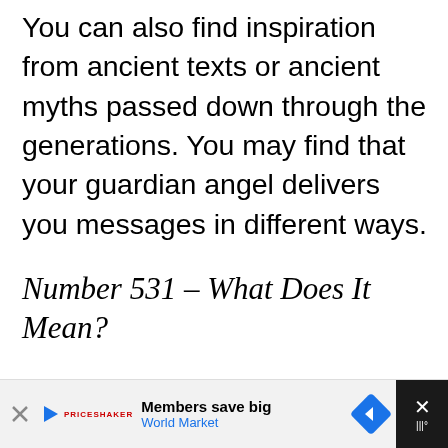You can also find inspiration from ancient texts or ancient myths passed down through the generations. You may find that your guardian angel delivers you messages in different ways.
Number 531 – What Does It Mean?
Life is full of obstacles, and sometimes it can be hard to know what to do. The numbers have tremendous spiritual vibrations, so angels use them as a communication route! They love us, and their sole mission is to gu...
[Figure (screenshot): Advertisement banner at bottom: 'Members save big / World Market' with navigation icon and close button]